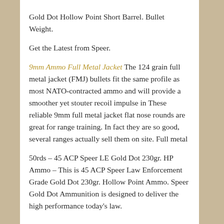Gold Dot Hollow Point Short Barrel. Bullet Weight.
Get the Latest from Speer.
9mm Ammo Full Metal Jacket The 124 grain full metal jacket (FMJ) bullets fit the same profile as most NATO-contracted ammo and will provide a smoother yet stouter recoil impulse in These reliable 9mm full metal jacket flat nose rounds are great for range training. In fact they are so good, several ranges actually sell them on site. Full metal
50rds – 45 ACP Speer LE Gold Dot 230gr. HP Ammo – This is 45 ACP Speer Law Enforcement Grade Gold Dot 230gr. Hollow Point Ammo. Speer Gold Dot Ammunition is designed to deliver the high performance today's law.